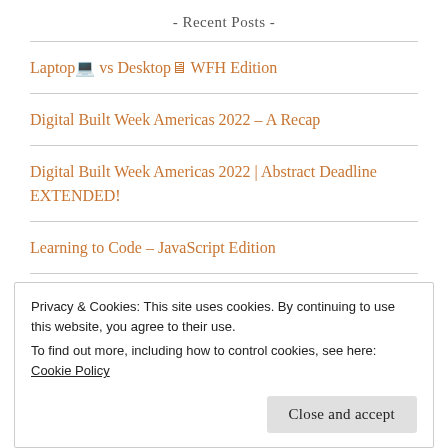- Recent Posts -
Laptop💻 vs Desktop💻 WFH Edition
Digital Built Week Americas 2022 – A Recap
Digital Built Week Americas 2022 | Abstract Deadline EXTENDED!
Learning to Code – JavaScript Edition
Privacy & Cookies: This site uses cookies. By continuing to use this website, you agree to their use.
To find out more, including how to control cookies, see here: Cookie Policy